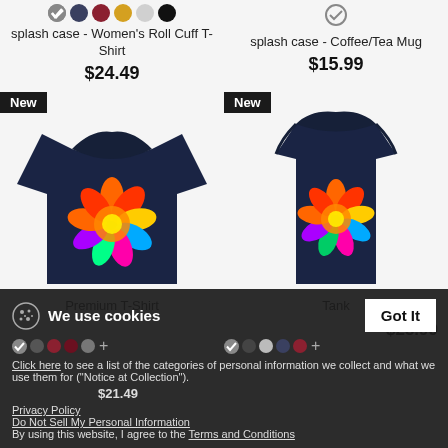splash case - Women's Roll Cuff T-Shirt
$24.49
splash case - Coffee/Tea Mug
$15.99
[Figure (photo): Dark navy Women's Roll Cuff T-Shirt with colorful floral splash print on the chest, labeled 'New']
[Figure (photo): Dark navy tank top with colorful floral splash print on the chest, labeled 'New']
We use cookies
Click here to see a list of the categories of personal information we collect and what we use them for ("Notice at Collection").
Privacy Policy
Do Not Sell My Personal Information
By using this website, I agree to the Terms and Conditions
Premium T-Shirt
$21.49
Tank
$25.99